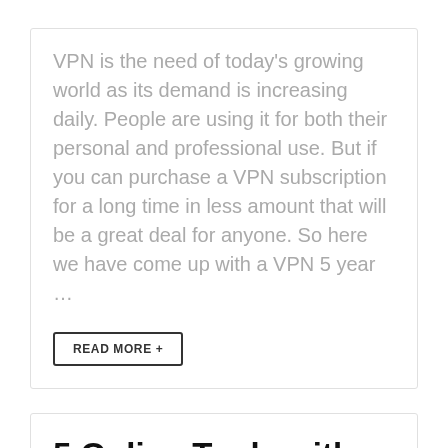VPN is the need of today's growing world as its demand is increasing daily. People are using it for both their personal and professional use. But if you can purchase a VPN subscription for a long time in less amount that will be a great deal for anyone. So here we have come up with a VPN 5 year …
READ MORE +
5 Online Tools with Best Deals and Discounts for